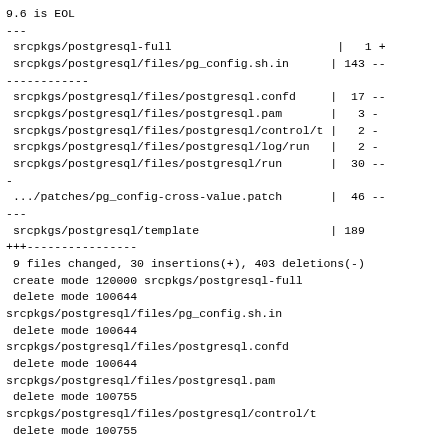9.6 is EOL
---
 srcpkgs/postgresql-full                        |   1 +
 srcpkgs/postgresql/files/pg_config.sh.in      | 143 --
------------
 srcpkgs/postgresql/files/postgresql.confd     |  17 --
 srcpkgs/postgresql/files/postgresql.pam       |   3 -
 srcpkgs/postgresql/files/postgresql/control/t |   2 -
 srcpkgs/postgresql/files/postgresql/log/run   |   2 -
 srcpkgs/postgresql/files/postgresql/run       |  30 --
-
 .../patches/pg_config-cross-value.patch       |  46 --
---
 srcpkgs/postgresql/template                   | 189
+++----------------
 9 files changed, 30 insertions(+), 403 deletions(-)
 create mode 120000 srcpkgs/postgresql-full
 delete mode 100644
srcpkgs/postgresql/files/pg_config.sh.in
 delete mode 100644
srcpkgs/postgresql/files/postgresql.confd
 delete mode 100644
srcpkgs/postgresql/files/postgresql.pam
 delete mode 100755
srcpkgs/postgresql/files/postgresql/control/t
 delete mode 100755
srcpkgs/postgresql/files/postgresql/log/run
 delete mode 100755
srcpkgs/postgresql/files/postgresql/run
 delete mode 100644